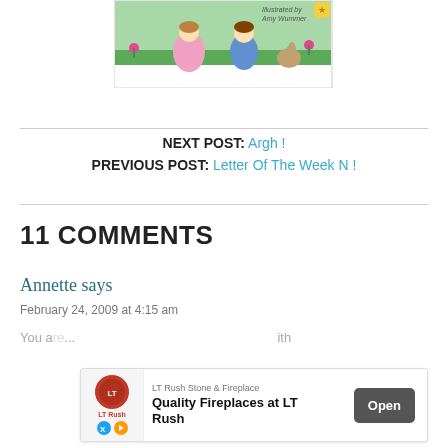[Figure (illustration): Children's book cover illustration showing two children and a rabbit in a garden with flowers and grass. Text reads 'Illustrated by Amy Wummer'.]
NEXT POST: Argh !
PREVIOUS POST: Letter Of The Week N !
11 COMMENTS
Annette says
February 24, 2009 at 4:15 am
You a... ith...
[Figure (screenshot): Advertisement banner for LT Rush Stone & Fireplace with text 'Quality Fireplaces at LT Rush' and an Open button.]